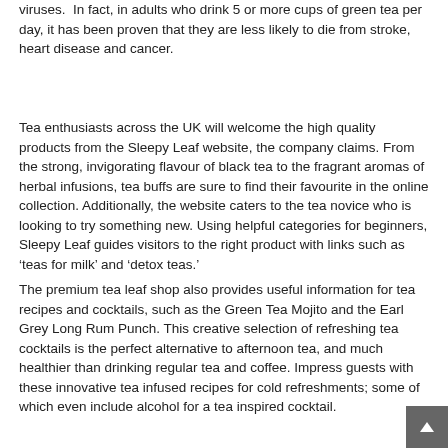viruses.  In fact, in adults who drink 5 or more cups of green tea per day, it has been proven that they are less likely to die from stroke, heart disease and cancer.
Tea enthusiasts across the UK will welcome the high quality products from the Sleepy Leaf website, the company claims. From the strong, invigorating flavour of black tea to the fragrant aromas of herbal infusions, tea buffs are sure to find their favourite in the online collection. Additionally, the website caters to the tea novice who is looking to try something new. Using helpful categories for beginners, Sleepy Leaf guides visitors to the right product with links such as 'teas for milk' and 'detox teas.'
The premium tea leaf shop also provides useful information for tea recipes and cocktails, such as the Green Tea Mojito and the Earl Grey Long Rum Punch. This creative selection of refreshing tea cocktails is the perfect alternative to afternoon tea, and much healthier than drinking regular tea and coffee. Impress guests with these innovative tea infused recipes for cold refreshments; some of which even include alcohol for a tea inspired cocktail.
The website also displays a host of advice and information including everything you ever need to know about loose leaf tea. Brew the perfect pot with Sleepy Leaf's Infusion Guide, learn about the history of tea and tea traditions, or why loose leaf tea is superior to teabags.